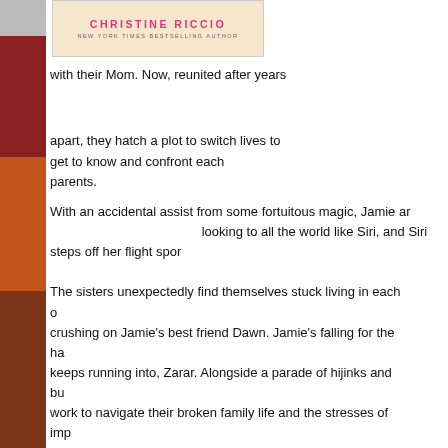[Figure (photo): Book cover showing Christine Riccio, New York Times Bestselling Author, with a pink/salmon background and book cover imagery on the left side spine area.]
with their Mom. Now, reunited after years apart, they hatch a plot to switch lives to get to know and confront each other's parents.
With an accidental assist from some fortuitous magic, Jamie and looking to all the world like Siri, and Siri steps off her flight spo
The sisters unexpectedly find themselves stuck living in each other's lives, crushing on Jamie's best friend Dawn. Jamie's falling for the handsome boy she keeps running into, Zarar. Alongside a parade of hijinks and bu work to navigate their broken family life and the stresses of imp
Freaky Friday meets The Parent Trap in New York Times bests Riccio's Better Together, a sparkling and heartfelt story about s finding romance, and finding yourself.
Places to Purchase:
Indiebound
Barnes & Noble
Amazon